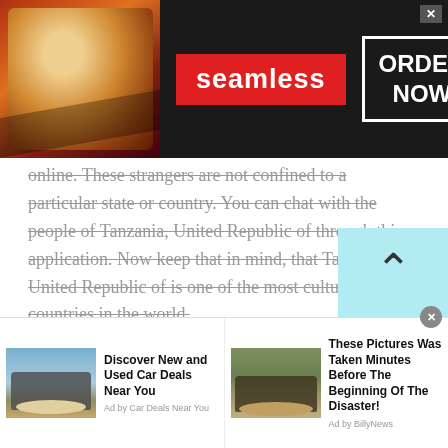[Figure (screenshot): Seamless food delivery advertisement banner with pizza image on left, red 'seamless' logo in center, and 'ORDER NOW' button on right with dark background]
online. These strangers are not confined to a particular state or country. You can chat with the people of Tanzania, United Republic of through this application. Now keep that in mind, that Tanzania, United Republic of is one of the most culturally rich countries in the world.
If you chat with the people of Tanzania, United Republic of, then you should stay open to accept the diversity and cultural values of the people. The reason being, alongside being culturally rich,
[Figure (screenshot): Bottom advertisement bar with two ads: 'Discover New and Used Car Deals Near You' (Ad by Car Deals Near You) and 'These Pictures Was Taken Minutes Before The Beginning Of The Disaster!' (Ad by BillyNews)]